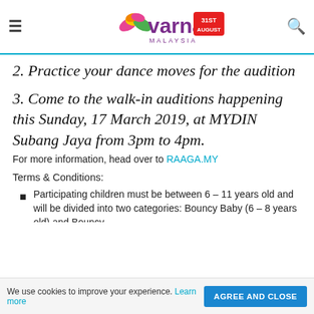Varnam Malaysia — navigation bar with logo
2. Practice your dance moves for the audition
3. Come to the walk-in auditions happening this Sunday, 17 March 2019, at MYDIN Subang Jaya from 3pm to 4pm.
For more information, head over to RAAGA.MY
Terms & Conditions:
Participating children must be between 6 – 11 years old and will be divided into two categories: Bouncy Baby (6 – 8 years old) and Bouncy…
We use cookies to improve your experience. Learn more   AGREE AND CLOSE